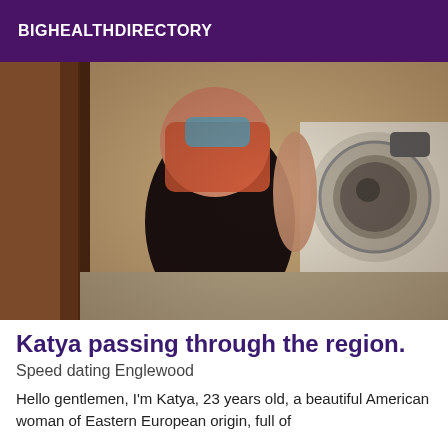BIGHEALTHDIRECTORY
[Figure (photo): A person taking a mirror selfie in a laundry room, wearing a black mini skirt and colorful top, with a washing machine visible in the background.]
Katya passing through the region.
Speed dating Englewood
Hello gentlemen, I'm Katya, 23 years old, a beautiful American woman of Eastern European origin, full of